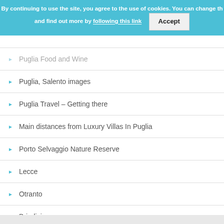By continuing to use the site, you agree to the use of cookies. You can change the settings and find out more by following this link   Accept
Puglia Food and Wine
Puglia, Salento images
Puglia Travel – Getting there
Main distances from Luxury Villas In Puglia
Porto Selvaggio Nature Reserve
Lecce
Otranto
Brindisi
Bari